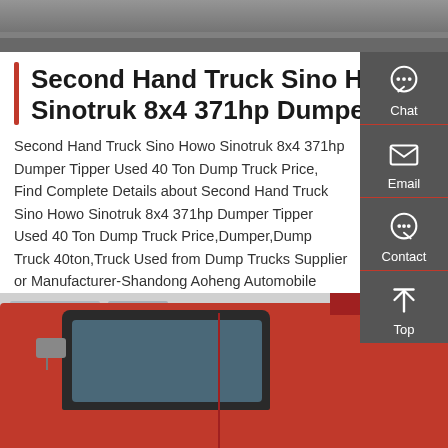[Figure (photo): Top portion of a road/pavement photograph, gray tones]
Second Hand Truck Sino Howo Sinotruk 8x4 371hp Dumper
Second Hand Truck Sino Howo Sinotruk 8x4 371hp Dumper Tipper Used 40 Ton Dump Truck Price, Find Complete Details about Second Hand Truck Sino Howo Sinotruk 8x4 371hp Dumper Tipper Used 40 Ton Dump Truck Price,Dumper,Dump Truck 40ton,Truck Used from Dump Trucks Supplier or Manufacturer-Shandong Aoheng Automobile Sales Co., Ltd.
[Figure (other): Get a Quote red button]
[Figure (photo): Red Sino Howo dump truck cab and dump body, photographed from the side]
[Figure (other): Sidebar with Chat, Email, Contact, Top navigation icons on dark gray background]